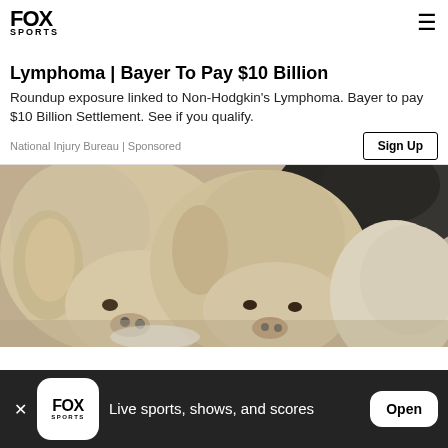FOX SPORTS
Lymphoma | Bayer To Pay $10 Billion
Roundup exposure linked to Non-Hodgkin's Lymphoma. Bayer to pay $10 Billion Settlement. See if you qualify.
National Injury Bureau | Sponsored
[Figure (photo): Close-up photo of several puppies, including light-colored and black puppies, huddled together and eating from a bowl]
Live sports, shows, and scores